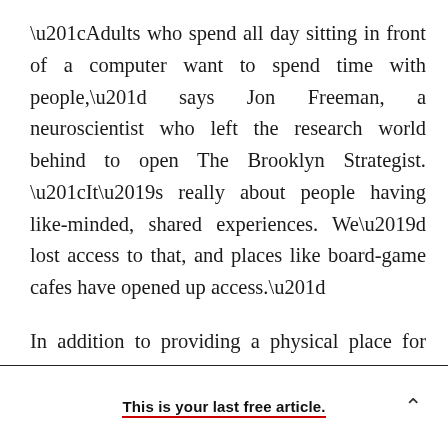“Adults who spend all day sitting in front of a computer want to spend time with people,” says Jon Freeman, a neuroscientist who left the research world behind to open The Brooklyn Strategist. “It’s really about people having like-minded, shared experiences. We’d lost access to that, and places like board-game cafes have opened up access.”
In addition to providing a physical place for people to interact, it may be that people are turning to board games now because the games themselves come at a time when people are starting to lose the
This is your last free article.